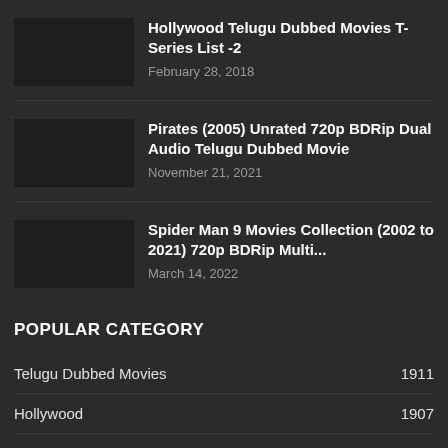Hollywood Telugu Dubbed Movies T- Series List -2
February 28, 2018
Pirates (2005) Unrated 720p BDRip Dual Audio Telugu Dubbed Movie
November 21, 2021
Spider Man 9 Movies Collection (2002 to 2021) 720p BDRip Multi...
March 14, 2022
POPULAR CATEGORY
Telugu Dubbed Movies 1911
Hollywood 1907
Multi Audio Movies 1901
Hindi Dubbed Movies